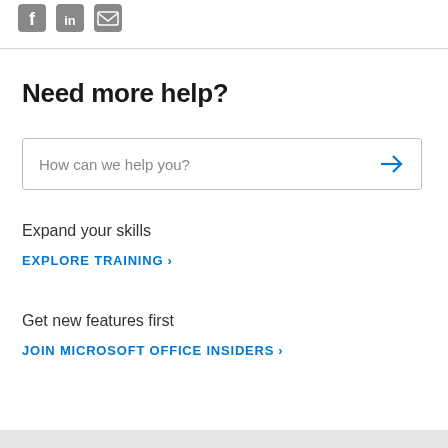[Figure (illustration): Three social/share icons: Facebook square icon, LinkedIn square icon, and envelope (email) icon, all in gray.]
Need more help?
[Figure (other): Search input box with placeholder text 'How can we help you?' and a blue right-arrow button on the right side.]
Expand your skills
EXPLORE TRAINING >
Get new features first
JOIN MICROSOFT OFFICE INSIDERS >